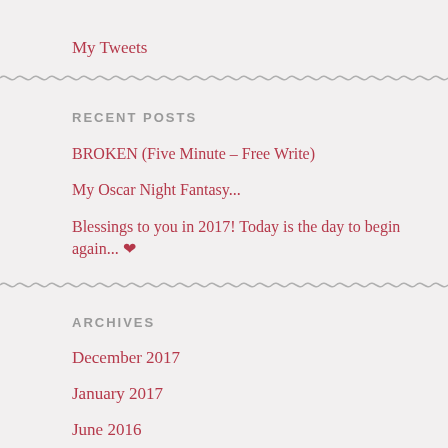My Tweets
RECENT POSTS
BROKEN (Five Minute – Free Write)
My Oscar Night Fantasy...
Blessings to you in 2017! Today is the day to begin again... ❤
ARCHIVES
December 2017
January 2017
June 2016
May 2016